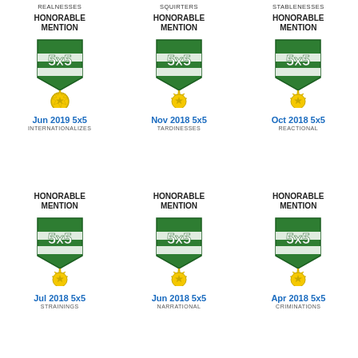REALNESSES
SQUIRTERS
STABLENESSES
HONORABLE MENTION
[Figure (illustration): 5x5 Honorable Mention badge with green shield and gold medallion]
Jun 2019 5x5
INTERNATIONALIZES
HONORABLE MENTION
[Figure (illustration): 5x5 Honorable Mention badge with green shield and gold medallion]
Nov 2018 5x5
TARDINESSES
HONORABLE MENTION
[Figure (illustration): 5x5 Honorable Mention badge with green shield and gold medallion]
Oct 2018 5x5
REACTIONAL
HONORABLE MENTION
[Figure (illustration): 5x5 Honorable Mention badge with green shield and gold medallion]
Jul 2018 5x5
STRAININGS
HONORABLE MENTION
[Figure (illustration): 5x5 Honorable Mention badge with green shield and gold medallion]
Jun 2018 5x5
NARRATIONAL
HONORABLE MENTION
[Figure (illustration): 5x5 Honorable Mention badge with green shield and gold medallion]
Apr 2018 5x5
CRIMINATIONS